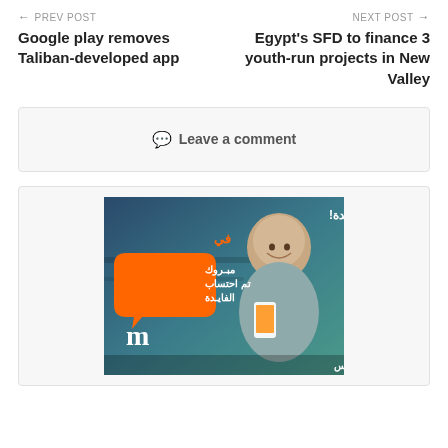← PREV POST | NEXT POST →
Google play removes Taliban-developed app
Egypt's SFD to finance 3 youth-run projects in New Valley
💬 Leave a comment
[Figure (photo): Advertisement image with Arabic text showing a smiling bald man holding a smartphone, with an orange speech bubble containing Arabic text 'مبروك تم احتساب الفايدة' and Arabic heading 'اليوم مفيهوش فايدة!' with the word 'في' in orange. Bank logo at bottom with Arabic text.]